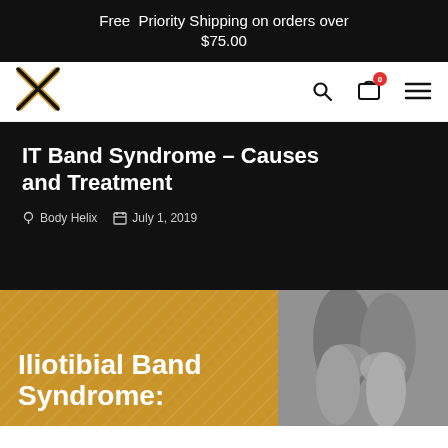Free Priority Shipping on orders over $75.00
[Figure (logo): Body Helix X logo in black and gold]
IT Band Syndrome – Causes and Treatment
Body Helix  July 1, 2019
[Figure (infographic): Gold banner section with text 'Iliotibial Band Syndrome:' and a black-and-white photo of a person's knees]